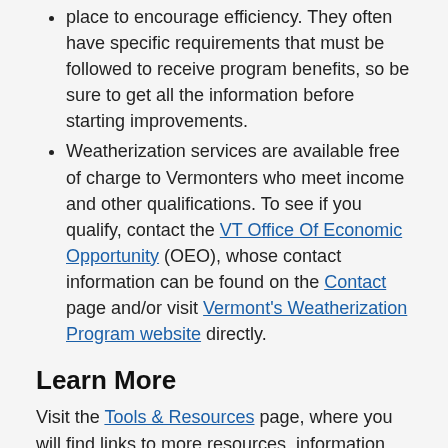place to encourage efficiency. They often have specific requirements that must be followed to receive program benefits, so be sure to get all the information before starting improvements.
Weatherization services are available free of charge to Vermonters who meet income and other qualifications. To see if you qualify, contact the VT Office Of Economic Opportunity (OEO), whose contact information can be found on the Contact page and/or visit Vermont's Weatherization Program website directly.
Learn More
Visit the Tools & Resources page, where you will find links to more resources, information and tools to help you with thermal energy efficiency planning.
Other tips that may help you start saving energy now:
During winter, keeping the draperies and shades on your south-facing windows open during the day can